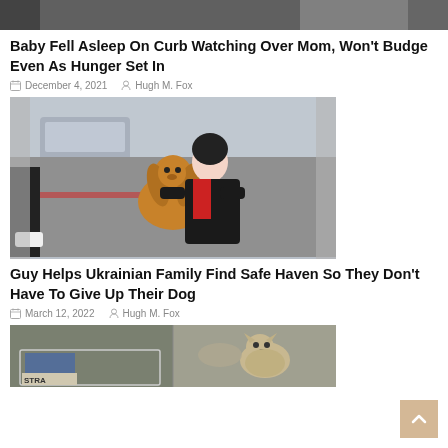[Figure (photo): Top cropped photo — partial image visible at top of page]
Baby Fell Asleep On Curb Watching Over Mom, Won't Budge Even As Hunger Set In
December 4, 2021   Hugh M. Fox
[Figure (photo): Woman in black and red jacket crouching on a city street, holding a golden/brown Cocker Spaniel dog. Cars and buildings in background.]
Guy Helps Ukrainian Family Find Safe Haven So They Don't Have To Give Up Their Dog
March 12, 2022   Hugh M. Fox
[Figure (photo): Stray dogs scene — dogs in a cart/bin with a sign reading STRAY]